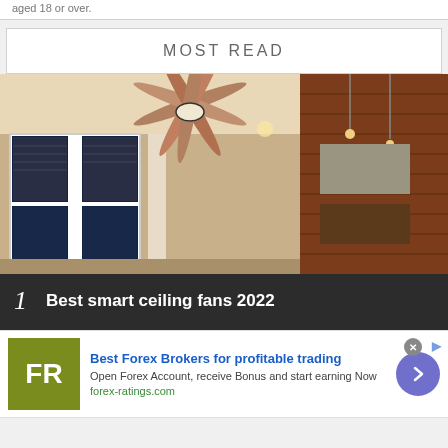aged 18 or over.
MOST READ
[Figure (photo): Interior room with ceiling fan, wooden wall paneling, windows with blinds, and pendant lighting]
1  Best smart ceiling fans 2022
[Figure (other): Advertisement for Best Forex Brokers - forex-ratings.com with FR logo]
Best Forex Brokers for profitable trading
Open Forex Account, receive Bonus and start earning Now
forex-ratings.com